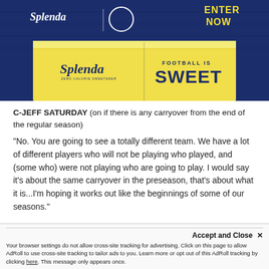[Figure (photo): Splenda advertisement banner showing Splenda logo and packet with text 'FOOTBALL IS SWEET' and 'ENTER NOW' on dark blue background]
C-JEFF SATURDAY (on if there is any carryover from the end of the regular season)
"No. You are going to see a totally different team. We have a lot of different players who will not be playing who played, and (some who) were not playing who are going to play. I would say it's about the same carryover in the preseason, that's about what it is...I'm hoping it works out like the beginnings of some of our seasons."
Accept and Close ✕
Your browser settings do not allow cross-site tracking for advertising. Click on this page to allow AdRoll to use cross-site tracking to tailor ads to you. Learn more or opt out of this AdRoll tracking by clicking here. This message only appears once.